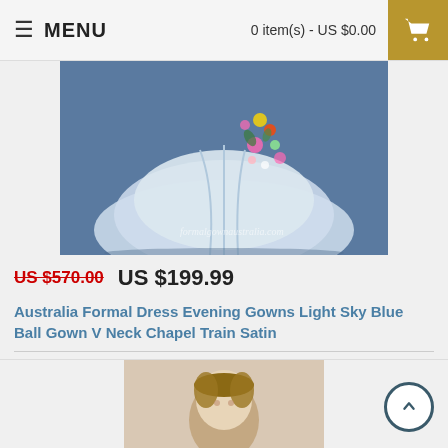MENU   0 item(s) - US $0.00
[Figure (photo): Light sky blue ball gown formal dress with floral embellishments, displayed on a model, shown from waist to floor against blue background. Watermark reads formalgownaustralia.com]
US $570.00  US $199.99
Australia Formal Dress Evening Gowns Light Sky Blue Ball Gown V Neck Chapel Train Satin
Australia Formal Dress Evening Gowns Light Sky Blue Ball Gown V Neck Chapel Train SatinFabric - Sati..
Add to Wish List
Add to Compare
[Figure (photo): Partial view of another product image at bottom of page, appears to be a woman in formal wear]